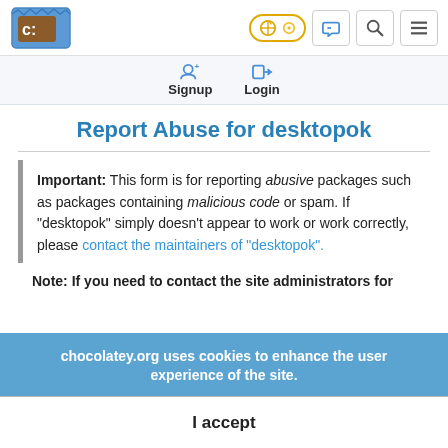[Figure (logo): Chocolatey logo - brown/blue chocolate package with 'C:' text]
Navigation bar with toggle, announcement, search, and menu icons
Signup   Login
Report Abuse for desktopok
Important: This form is for reporting abusive packages such as packages containing malicious code or spam. If "desktopok" simply doesn't appear to work or work correctly, please contact the maintainers of "desktopok".
Note: If you need to contact the site administrators for
chocolatey.org uses cookies to enhance the user experience of the site.
I accept